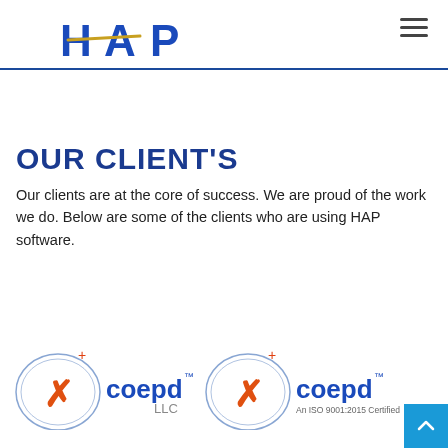[Figure (logo): HAP logo in blue bold letters with a gold/yellow accent line]
OUR CLIENT'S
Our clients are at the core of success. We are proud of the work we do. Below are some of the clients who are using HAP software.
[Figure (logo): Two COEPD logos side by side: coepd LLC and coepd An ISO 9001:2015 Certified]